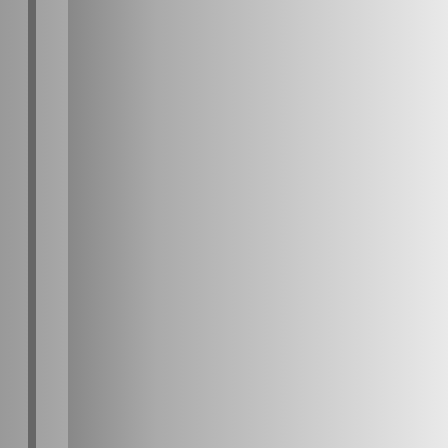| Property | Value |
| --- | --- |
| Easternmost Longitude | 6.17 ° |
| Westernmost Longitude | 4.08 ° |
| Diameter | 200.00 KM |
| Center Latitude | 5.10 ° |
| Center Longitude | 4.83 ° |
| kml download | Rimae Triesnecker |
| Continent | Europe |
| Ethnic/Cultural Group or Country | Austria |
| Quad | LAC-59 [po… |
| Reference | [67] - The System of Craters, Quadrants III, IV: by D. G. Arthur and others: Communications of the Lunar and Planetary Laboratory, vol. 2, no. 30, 1… |